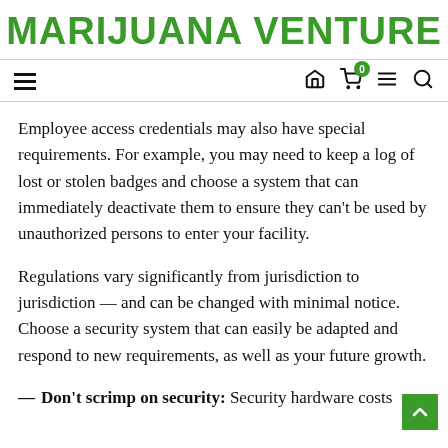MARIJUANA VENTURE
Employee access credentials may also have special requirements. For example, you may need to keep a log of lost or stolen badges and choose a system that can immediately deactivate them to ensure they can’t be used by unauthorized persons to enter your facility.
Regulations vary significantly from jurisdiction to jurisdiction — and can be changed with minimal notice. Choose a security system that can easily be adapted and respond to new requirements, as well as your future growth.
Don’t scrimp on security: Security hardware costs